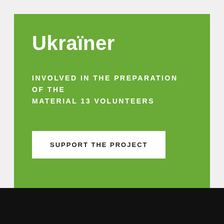Ukraïner
INVOLVED IN THE PREPARATION OF THE MATERIAL 13 VOLUNTEERS
SUPPORT THE PROJECT